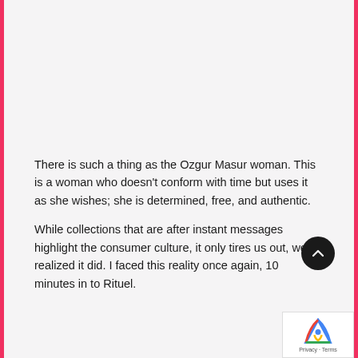There is such a thing as the Ozgur Masur woman. This is a woman who doesn't conform with time but uses it as she wishes; she is determined, free, and authentic.

While collections that are after instant messages highlight the consumer culture, it only tires us out, we realized it did. I faced this reality once again, 10 minutes in to Rituel.